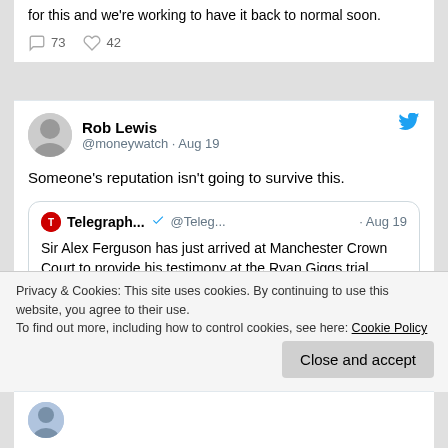for this and we're working to have it back to normal soon.
73  42
Rob Lewis @moneywatch · Aug 19
Someone's reputation isn't going to survive this.
Telegraph... @Teleg... · Aug 19 — Sir Alex Ferguson has just arrived at Manchester Crown Court to provide his testimony at the Ryan Giggs trial.
Privacy & Cookies: This site uses cookies. By continuing to use this website, you agree to their use. To find out more, including how to control cookies, see here: Cookie Policy
Close and accept